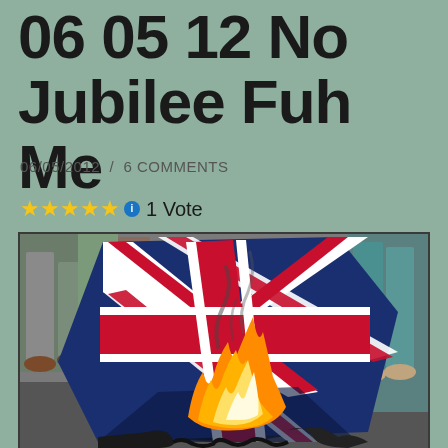06 05 12 No Jubilee Fuh Me
06/05/2012  /  6 COMMENTS
★★★★★ ℹ 1 Vote
[Figure (photo): A Union Jack (UK flag) burning on the ground, surrounded by people's legs. The flag is on fire in the lower center area.]